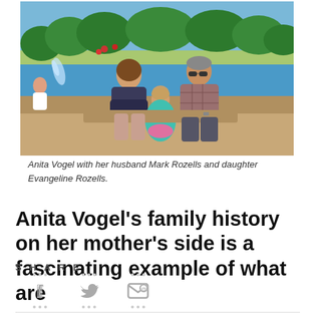[Figure (photo): Family photo of Anita Vogel with her husband Mark Rozells and daughter Evangeline Rozells sitting in front of a fountain, outdoors with green trees in background.]
Anita Vogel with her husband Mark Rozells and daughter Evangeline Rozells.
Anita Vogel's family history on her mother's side is a fascinating example of what are
SHARE